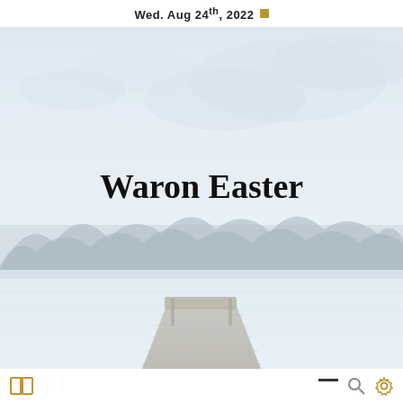Wed. Aug 24th, 2022
[Figure (photo): A serene lakeside scene with a wooden dock extending into calm water, misty tree-lined shore in the background, and an overcast sky. The image has a very light, faded/washed-out tone.]
Waron Easter